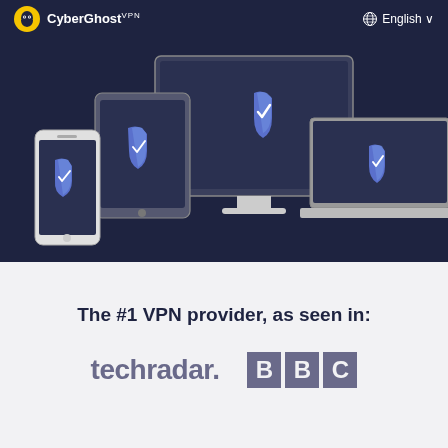[Figure (logo): CyberGhost VPN logo — yellow circle with ghost icon, white text 'CyberGhost' with 'VPN' superscript]
🌐 English ∨
[Figure (illustration): Hero illustration on dark navy background showing multiple devices (smartphone, tablet, desktop monitor, laptop) each displaying a blue shield/checkmark VPN protection icon]
The #1 VPN provider, as seen in:
[Figure (logo): techradar. logo in grey]
[Figure (logo): BBC logo in grey blocks]